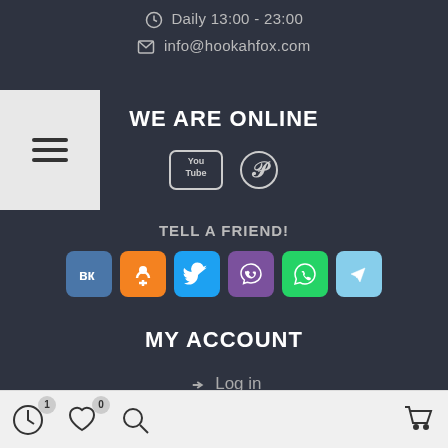Daily 13:00 - 23:00
info@hookahfox.com
WE ARE ONLINE
[Figure (illustration): YouTube and Pinterest social media icons]
TELL A FRIEND!
[Figure (illustration): Social sharing buttons: VK, Odnoklassniki, Twitter, Viber, WhatsApp, Telegram]
MY ACCOUNT
Log in
Sign up
FOR USERS
Bottom navigation bar with clock (1), heart (0), search, and cart icons